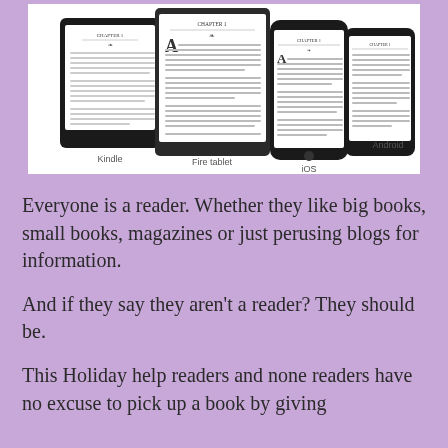[Figure (photo): A marketing image showing Amazon Kindle e-reader, Fire tablet, iOS (iPhone), and Android (smartphone) devices displaying the same e-book chapter. Each device is labeled below: Kindle, Fire tablet, iOS, Android.]
Everyone is a reader. Whether they like big books, small books, magazines or just perusing blogs for information.
And if they say they aren't a reader? They should be.
This Holiday help readers and none readers have no excuse to pick up a book by giving